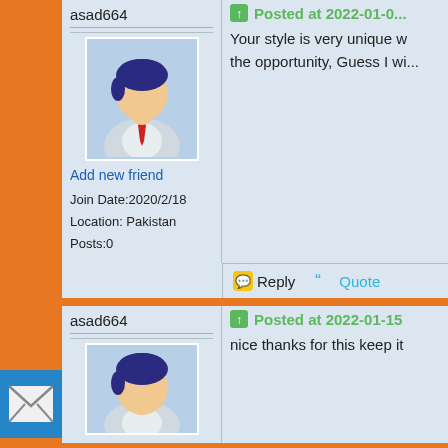asad664
[Figure (illustration): Generic user avatar icon - person with blue hair, business attire with red tie]
Add new friend
Join Date:2020/2/18
Location: Pakistan
Posts:0
Posted at 2022-01-0...
Your style is very unique w... the opportunity, Guess I wi...
Reply
Quote
asad664
Posted at 2022-01-15
nice thanks for this keep it
[Figure (illustration): Generic user avatar icon - person with blue hair]
[Figure (illustration): Email/mail envelope icon in blue square]